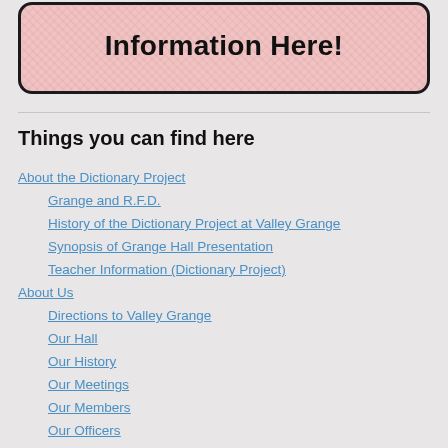[Figure (illustration): Pink textured banner box with rounded corners and dark border showing bold text 'Information Here!']
Things you can find here
About the Dictionary Project
Grange and R.F.D.
History of the Dictionary Project at Valley Grange
Synopsis of Grange Hall Presentation
Teacher Information (Dictionary Project)
About Us
Directions to Valley Grange
Our Hall
Our History
Our Meetings
Our Members
Our Officers